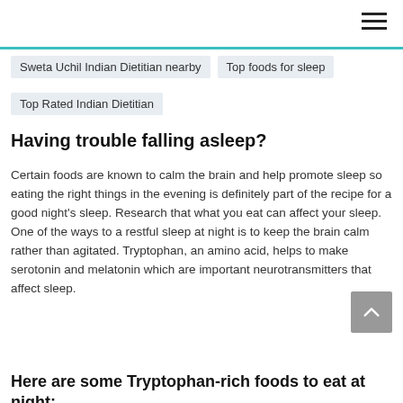Sweta Uchil Indian Dietitian nearby
Top foods for sleep
Top Rated Indian Dietitian
Having trouble falling asleep?
Certain foods are known to calm the brain and help promote sleep so eating the right things in the evening is definitely part of the recipe for a good night's sleep. Research that what you eat can affect your sleep. One of the ways to a restful sleep at night is to keep the brain calm rather than agitated. Tryptophan, an amino acid, helps to make serotonin and melatonin which are important neurotransmitters that affect sleep.
Here are some Tryptophan-rich foods to eat at night: